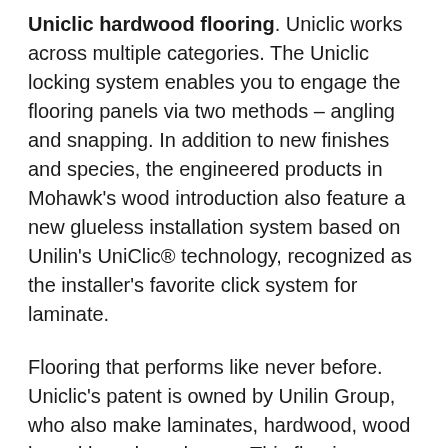Uniclic hardwood flooring. Uniclic works across multiple categories. The Uniclic locking system enables you to engage the flooring panels via two methods – angling and snapping. In addition to new finishes and species, the engineered products in Mohawk's wood introduction also feature a new glueless installation system based on Unilin's UniClic® technology, recognized as the installer's favorite click system for laminate.
Flooring that performs like never before. Uniclic's patent is owned by Unilin Group, who also make laminates, hardwood, wood based boards and more. This flooring features deep rich exotic colours, random plank length, and a tongue and groove click installation for a simple, easy to install product.